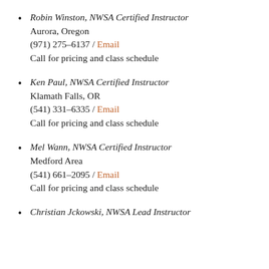Robin Winston, NWSA Certified Instructor
Aurora, Oregon
(971) 275-6137 / Email
Call for pricing and class schedule
Ken Paul, NWSA Certified Instructor
Klamath Falls, OR
(541) 331-6335 / Email
Call for pricing and class schedule
Mel Wann, NWSA Certified Instructor
Medford Area
(541) 661-2095 / Email
Call for pricing and class schedule
Christian Jckowski, NWSA Lead Instructor